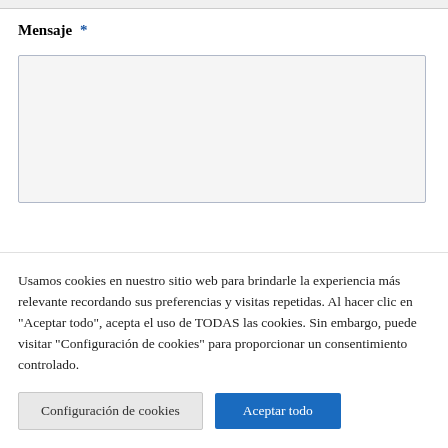Mensaje *
[Figure (screenshot): Empty text area input box with light gray background and border]
Usamos cookies en nuestro sitio web para brindarle la experiencia más relevante recordando sus preferencias y visitas repetidas. Al hacer clic en "Aceptar todo", acepta el uso de TODAS las cookies. Sin embargo, puede visitar "Configuración de cookies" para proporcionar un consentimiento controlado.
Configuración de cookies
Aceptar todo